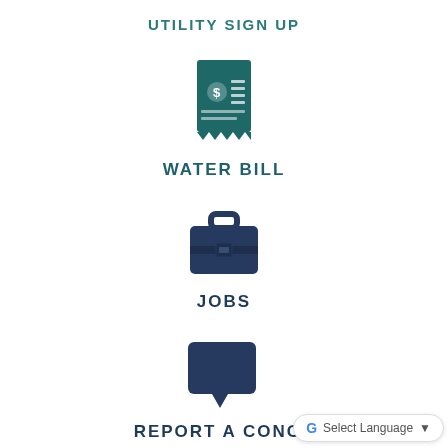UTILITY SIGN UP
[Figure (illustration): Receipt/bill icon with dollar sign, dark teal color]
WATER BILL
[Figure (illustration): Briefcase icon, dark navy color]
JOBS
[Figure (illustration): Speech bubble / comment icon, dark navy color]
REPORT A CONCE...